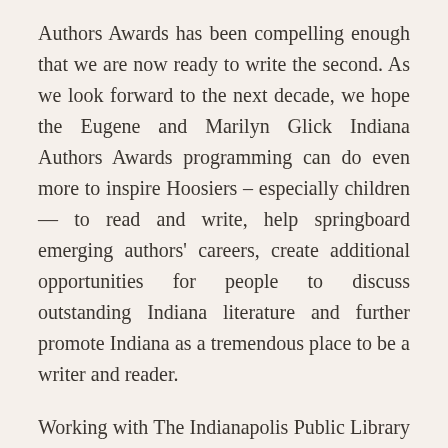Authors Awards has been compelling enough that we are now ready to write the second. As we look forward to the next decade, we hope the Eugene and Marilyn Glick Indiana Authors Awards programming can do even more to inspire Hoosiers – especially children — to read and write, help springboard emerging authors' careers, create additional opportunities for people to discuss outstanding Indiana literature and further promote Indiana as a tremendous place to be a writer and reader.
Working with The Indianapolis Public Library Foundation team, we have determined the best way to accomplish the expanded goals of the Eugene and Marilyn Glick Indiana Authors Awards is for a statewide organization to lead future programming. During 2019 we will take some time to develop creative new ideas that will more fully engage people throughout Indiana. While this means awards won't